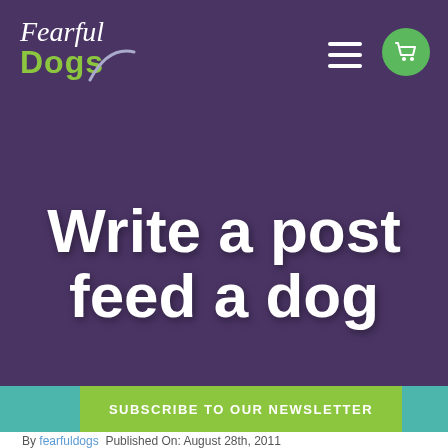Fearful Dogs — navigation header with logo, hamburger menu, and cart icon
Write a post feed a dog
SUBSCRIBE TO OUR NEWSLETTER
By fearfuldogs  Published On: August 28th, 2011
[Figure (photo): Partial view of a dog in a cage/kennel at the bottom of the page]